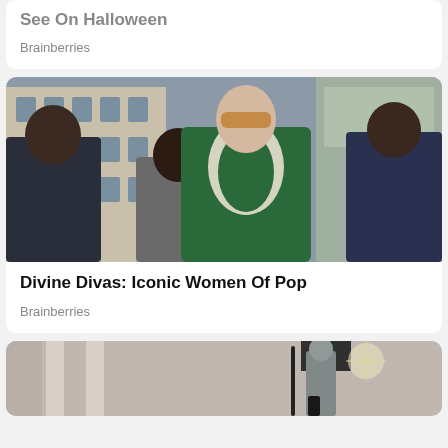See On Halloween
Brainberries
[Figure (photo): Woman in green velvet dress with decorative white collar, wearing amber sunglasses, flanked by two men in dark suits, standing on a Paris street]
Divine Divas: Iconic Women Of Pop
Brainberries
[Figure (photo): Partial view of a person on a city street, architectural columns visible in background]